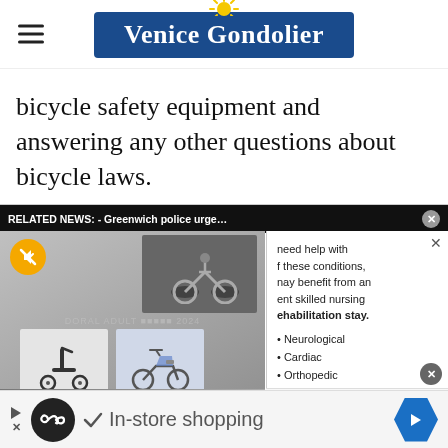[Figure (logo): Venice Gondolier newspaper logo with blue background and yellow sun icon above]
bicycle safety equipment and answering any other questions about bicycle laws.
[Figure (screenshot): Related news overlay with video panel showing bicycles/scooters, a mute button, and a ManorCare advertisement panel listing Neurological, Cardiac, Orthopedic, Cancer, Pulmonary, Complex Medical services]
[Figure (screenshot): Bottom advertisement bar showing an infinity logo circle, play/close controls, a checkmark with 'In-store shopping' text, and a blue navigation arrow button]